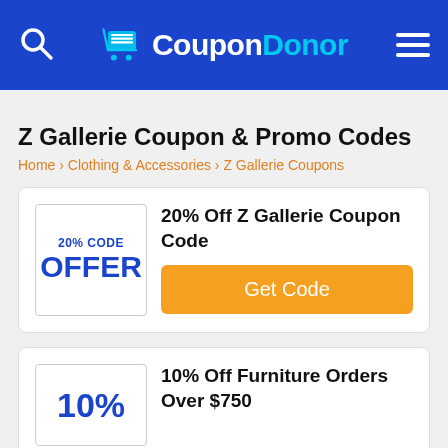CouponDonor
Z Gallerie Coupon & Promo Codes
Home › Clothing & Accessories › Z Gallerie Coupons
20% Off Z Gallerie Coupon Code
Get Code
10% Off Furniture Orders Over $750